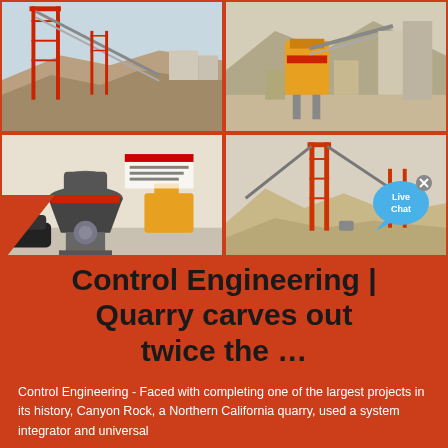[Figure (photo): Four photos of quarry and mining/crushing equipment: top-left shows a large conveyor/stacker at a sand quarry site; top-right shows a crusher and processing plant at a rocky mountain quarry; bottom-left shows a cone crusher machine indoors in a showroom; bottom-right shows conveyor stackers over piles of crushed aggregate with a Live Chat bubble overlay.]
Control Engineering | Quarry carves out twice the …
Control Engineering - Faced with completing one of the largest projects in its history, Canyon Rock, a Northern California quarry, used a system integrator and universal